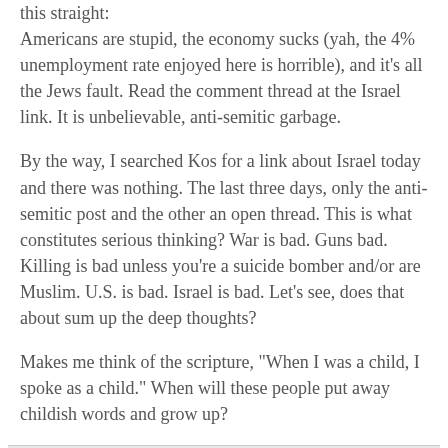this straight: Americans are stupid, the economy sucks (yah, the 4% unemployment rate enjoyed here is horrible), and it's all the Jews fault. Read the comment thread at the Israel link. It is unbelievable, anti-semitic garbage.
By the way, I searched Kos for a link about Israel today and there was nothing. The last three days, only the anti-semitic post and the other an open thread. This is what constitutes serious thinking? War is bad. Guns bad. Killing is bad unless you're a suicide bomber and/or are Muslim. U.S. is bad. Israel is bad. Let's see, does that about sum up the deep thoughts?
Makes me think of the scripture, "When I was a child, I spoke as a child." When will these people put away childish words and grow up?
Melissa Clouthier at 1:38 PM   No comments:
Class of Cancer Drugs Cause Heart